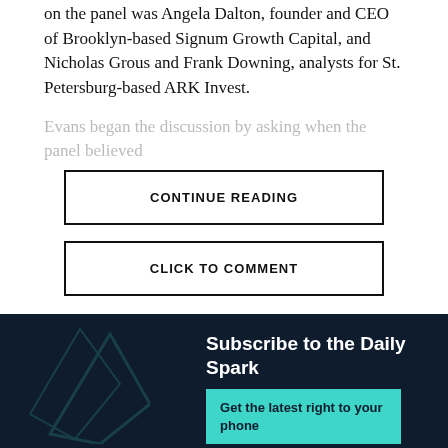on the panel was Angela Dalton, founder and CEO of Brooklyn-based Signum Growth Capital, and Nicholas Grous and Frank Downing, analysts for St. Petersburg-based ARK Invest.
Evans began the discussion by asking when the panel believed...
CONTINUE READING
CLICK TO COMMENT
Subscribe to the Daily Spark
Get the latest right to your phone